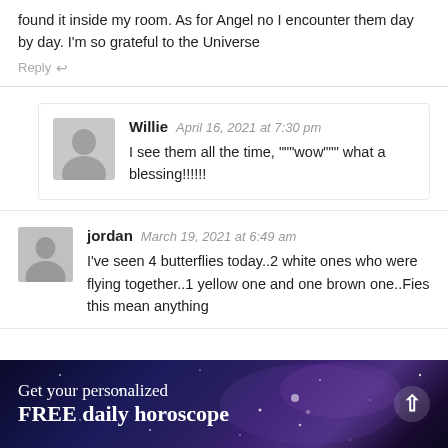found it inside my room. As for Angel no I encounter them day by day. I'm so grateful to the Universe
Reply
Willie  April 16, 2021 at 7:30 pm
I see them all the time, """wow""" what a blessing!!!!!!
jordan  March 19, 2021 at 6:49 am
I've seen 4 butterflies today..2 white ones who were flying together..1 yellow one and one brown one..Fies this mean anything
Get your personalized
FREE daily horoscope